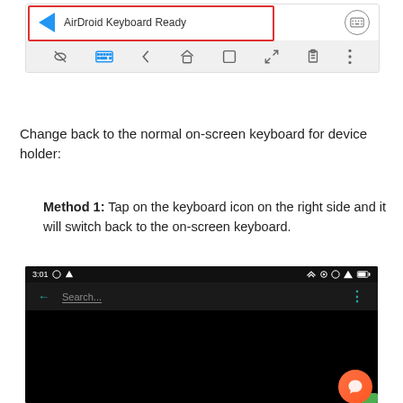[Figure (screenshot): Android toolbar screenshot showing 'AirDroid Keyboard Ready' notification with a blue arrow icon on the left, highlighted by a red rectangle border. Below the notification is a toolbar row with icons including a crossed-eye, blue keyboard, back arrow, home, square, expand, clipboard, and menu dots icons.]
Change back to the normal on-screen keyboard for device holder:
Method 1: Tap on the keyboard icon on the right side and it will switch back to the on-screen keyboard.
[Figure (screenshot): Android phone screen showing status bar with time 3:01 and icons, a search bar with teal back arrow and Search... placeholder text with a teal dots menu icon, and a black screen below. An orange chat/message floating button appears in the bottom right corner with a green corner accent.]